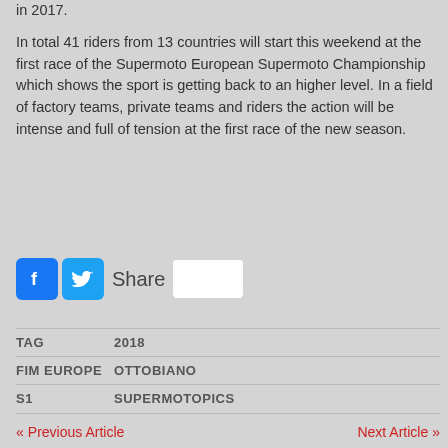in 2017.
In total 41 riders from 13 countries will start this weekend at the first race of the Supermoto European Supermoto Championship which shows the sport is getting back to an higher level. In a field of factory teams, private teams and riders the action will be intense and full of tension at the first race of the new season.
[Figure (infographic): Social share bar with Facebook icon (blue), Twitter icon (blue), Share text, and a white box]
| TAG | 2018 |
| FIM EUROPE | OTTOBIANO |
| S1 | SUPERMOTOPICS |
« Previous Article    Next Article »